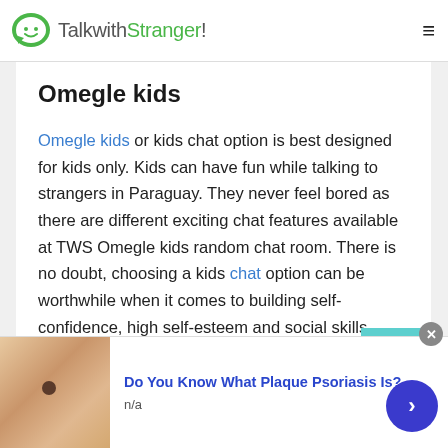TalkwithStranger!
Omegle kids
Omegle kids or kids chat option is best designed for kids only. Kids can have fun while talking to strangers in Paraguay. They never feel bored as there are different exciting chat features available at TWS Omegle kids random chat room. There is no doubt, choosing a kids chat option can be worthwhile when it comes to building self-confidence, high self-esteem and social skills.
[Figure (other): Advertisement banner showing a hand with a mole/skin condition, with text 'Do You Know What Plaque Psoriasis Is?' and n/a subtitle]